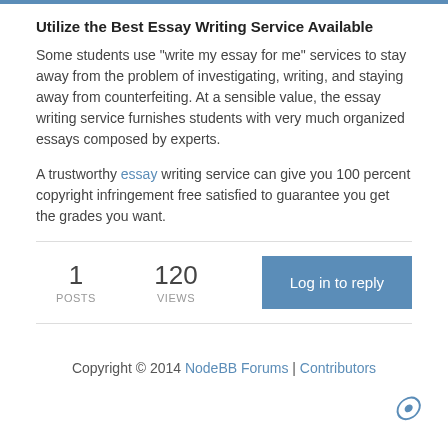Utilize the Best Essay Writing Service Available
Some students use "write my essay for me" services to stay away from the problem of investigating, writing, and staying away from counterfeiting. At a sensible value, the essay writing service furnishes students with very much organized essays composed by experts.
A trustworthy essay writing service can give you 100 percent copyright infringement free satisfied to guarantee you get the grades you want.
1 POSTS   120 VIEWS
Log in to reply
Copyright © 2014 NodeBB Forums | Contributors